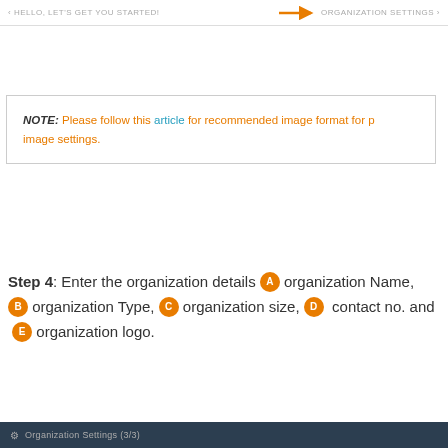HELLO, LET'S GET YOU STARTED! | ORGANIZATION SETTINGS
NOTE: Please follow this article for recommended image format for p image settings.
Step 4: Enter the organization details A organization Name, B organization Type, C organization size, D contact no. and E organization logo.
Organization Settings (3/3)